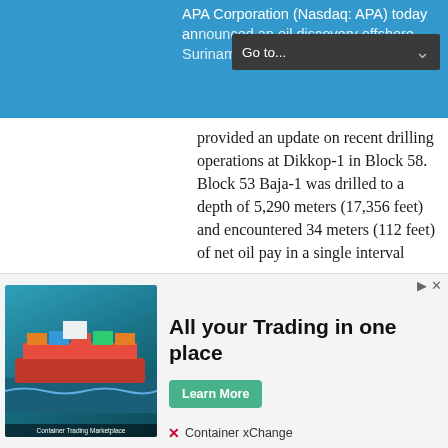APA Corporation (Nasdaq: APA) today announced an oil discovery offshore Suriname at Baja-1 in Block 53 and provided an update on recent drilling operations at Dikkop-1 in Block 58.
provided an update on recent drilling operations at Dikkop-1 in Block 58. Block 53 Baja-1 was drilled to a depth of 5,290 meters (17,356 feet) and encountered 34 meters (112 feet) of net oil pay in a single interval within the Campanian. Preliminary fluid and log analysis indicates light oil with a gas-oil ratio (GOR) of 1,600 to 2,200 standard cubic feet per barrel, in good quality reservoir. The discovery at Baja-1 is ...
[Figure (screenshot): Advertisement banner for Container xChange — 'All your Trading in one place' with Learn More button and container ship image]